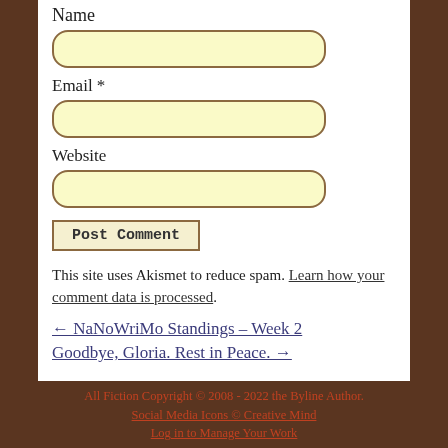Name
Email *
Website
Post Comment
This site uses Akismet to reduce spam. Learn how your comment data is processed.
← NaNoWriMo Standings – Week 2
Goodbye, Gloria. Rest in Peace. →
All Fiction Copyright © 2008 - 2022 the Byline Author. Social Media Icons © Creative Mind Log in to Manage Your Work